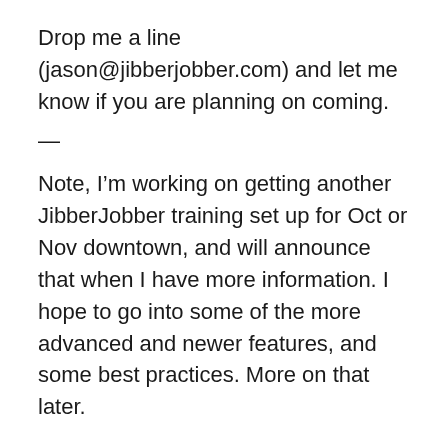Drop me a line (jason@jibberjobber.com) and let me know if you are planning on coming.
—
Note, I'm working on getting another JibberJobber training set up for Oct or Nov downtown, and will announce that when I have more information. I hope to go into some of the more advanced and newer features, and some best practices. More on that later.
And, I'll be in Houston the week after New Years, and will try and set up a meeting there! Very excited about that!